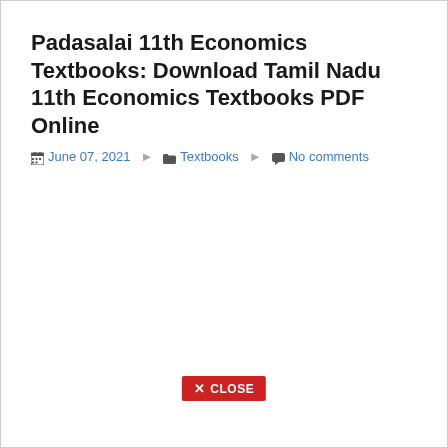Padasalai 11th Economics Textbooks: Download Tamil Nadu 11th Economics Textbooks PDF Online
June 07, 2021   Textbooks   No comments
[Figure (other): CLOSE button (red background, white text with X symbol)]